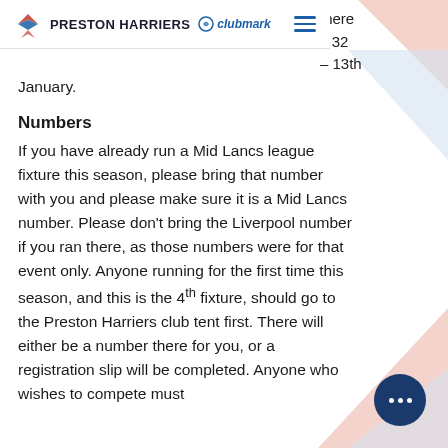PRESTON HARRIERS clubmark
– 13th January.
Numbers
If you have already run a Mid Lancs league fixture this season, please bring that number with you and please make sure it is a Mid Lancs number. Please don't bring the Liverpool number if you ran there, as those numbers were for that event only. Anyone running for the first time this season, and this is the 4th fixture, should go to the Preston Harriers club tent first. There will either be a number there for you, or a registration slip will be completed. Anyone who wishes to compete must